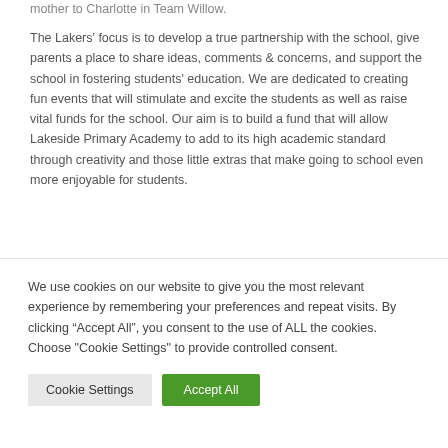mother to Charlotte in Team Willow.
The Lakers' focus is to develop a true partnership with the school, give parents a place to share ideas, comments & concerns, and support the school in fostering students' education. We are dedicated to creating fun events that will stimulate and excite the students as well as raise vital funds for the school. Our aim is to build a fund that will allow Lakeside Primary Academy to add to its high academic standard through creativity and those little extras that make going to school even more enjoyable for students.
We use cookies on our website to give you the most relevant experience by remembering your preferences and repeat visits. By clicking “Accept All”, you consent to the use of ALL the cookies. Choose "Cookie Settings" to provide controlled consent.